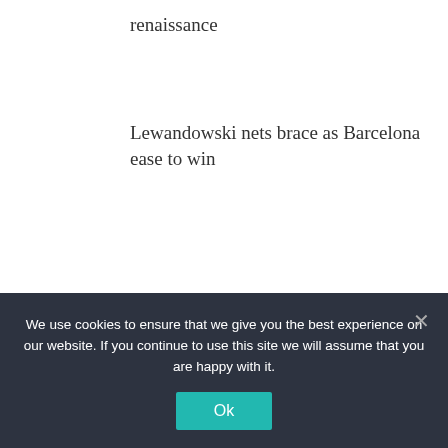renaissance
Lewandowski nets brace as Barcelona ease to win
Pogba responds to brother’s ‘revelation’ threats
NFL
We use cookies to ensure that we give you the best experience on our website. If you continue to use this site we will assume that you are happy with it.